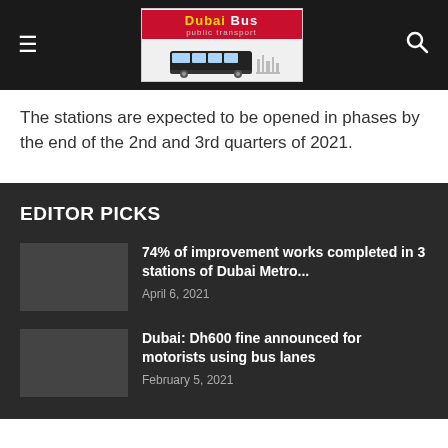Dubai Bus (navigation bar with logo and search)
The stations are expected to be opened in phases by the end of the 2nd and 3rd quarters of 2021.
EDITOR PICKS
74% of improvement works completed in 3 stations of Dubai Metro...
April 6, 2021
Dubai: Dh600 fine announced for motorists using bus lanes
February 5, 2021